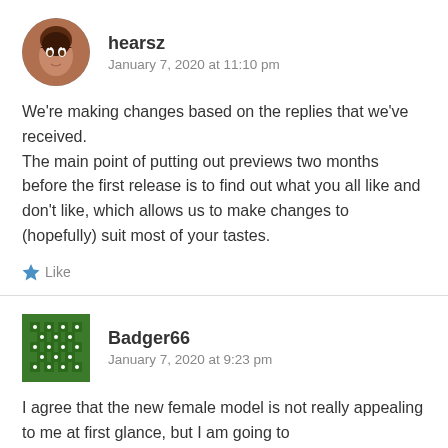hearsz
January 7, 2020 at 11:10 pm
We're making changes based on the replies that we've received.
The main point of putting out previews two months before the first release is to find out what you all like and don't like, which allows us to make changes to (hopefully) suit most of your tastes.
Like
Badger66
January 7, 2020 at 9:23 pm
I agree that the new female model is not really appealing to me at first glance, but I am going to